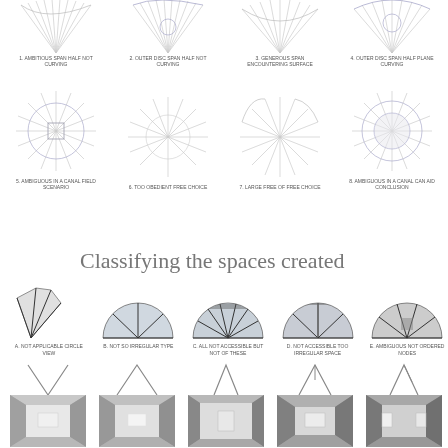[Figure (illustration): Top row of 4 radial fan/starburst diagrams with captions: 1. ambitious span half not curving, 2. Outer disc span half not curving, 3. Generous span encountering surface, 4. Outer disc span half curving]
[Figure (illustration): Second row of 4 radial fan/starburst diagrams with captions: 5. Ambiguous in a linear field scenario, 6. Too obedient free choice, 7. Large free of free choice, 8. Ambiguous in a linear can aid conclusion]
Classifying the spaces created
[Figure (illustration): Row of 5 fan/sector diagrams showing space classifications with labels below: A. Not applicable circle view, B. Not so irregular type, C. All not accessible but not of these, D. Not accessible too irregular space, E. Ambiguous not ordered nodes]
[Figure (illustration): Row of 5 simple line diagrams (V and A shapes)]
[Figure (illustration): Row of 5 rendered perspective room interior images in grayscale]